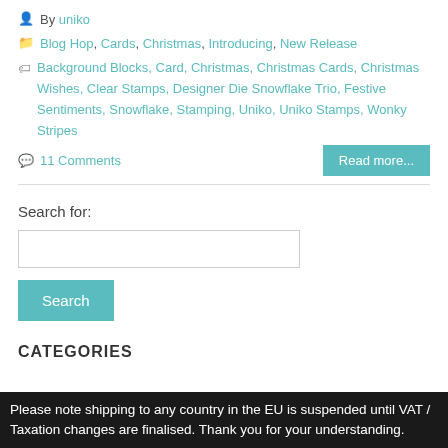By uniko
Blog Hop, Cards, Christmas, Introducing, New Release
Background Blocks, Card, Christmas, Christmas Cards, Christmas Wishes, Clear Stamps, Designer Die Snowflake Trio, Festive Sentiments, Snowflake, Stamping, Uniko, Uniko Stamps, Wonky Stripes
11 Comments
Read more...
Search for:
CATEGORIES
Please note shipping to any country in the EU is suspended until VAT / Taxation changes are finalised. Thank you for your understanding.